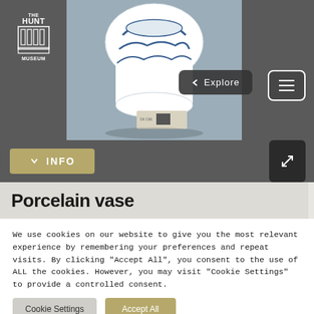[Figure (screenshot): Museum website screenshot showing The Hunt Museum logo, a porcelain vase image, Explore navigation button, hamburger menu, INFO button, expand button, and a cookie consent banner.]
Porcelain vase
We use cookies on our website to give you the most relevant experience by remembering your preferences and repeat visits. By clicking "Accept All", you consent to the use of ALL the cookies. However, you may visit "Cookie Settings" to provide a controlled consent.
Cookie Settings
Accept All